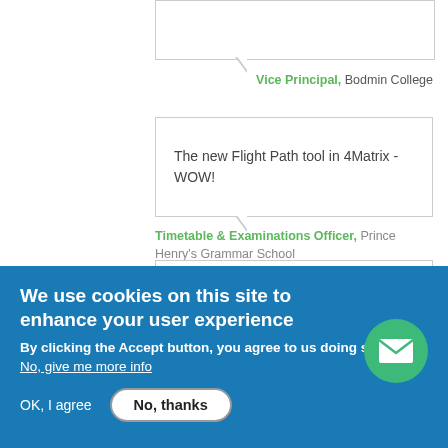Vice Principal, Bodmin College
The new Flight Path tool in 4Matrix - WOW!
Timetable & Examinations Officer, Prince Henry's Grammar School
I just wanted to let you know how we were taken aback with the power of 4Matrix on results day. What traditionally took 3+ hours was done in a matter of minutes. It enabled me to concentrate on the bigger picture.
I can't recommend 4Matrix highly enough!
We use cookies on this site to enhance your user experience
By clicking the Accept button, you agree to us doing so.
No, give me more info
OK, I agree
No, thanks